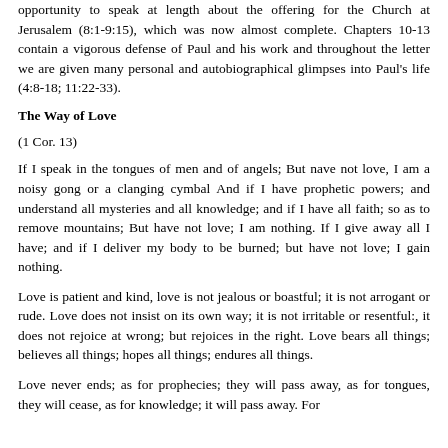opportunity to speak at length about the offering for the Church at Jerusalem (8:1-9:15), which was now almost complete. Chapters 10-13 contain a vigorous defense of Paul and his work and throughout the letter we are given many personal and autobiographical glimpses into Paul's life (4:8-18; 11:22-33).
The Way of Love
(1 Cor. 13)
If I speak in the tongues of men and of angels; But nave not love, I am a noisy gong or a clanging cymbal And if I have prophetic powers; and understand all mysteries and all knowledge; and if I have all faith; so as to remove mountains; But have not love; I am nothing. If I give away all I have; and if I deliver my body to be burned; but have not love; I gain nothing.
Love is patient and kind, love is not jealous or boastful; it is not arrogant or rude. Love does not insist on its own way; it is not irritable or resentful:, it does not rejoice at wrong; but rejoices in the right. Love bears all things; believes all things; hopes all things; endures all things.
Love never ends; as for prophecies; they will pass away, as for tongues, they will cease, as for knowledge; it will pass away. For